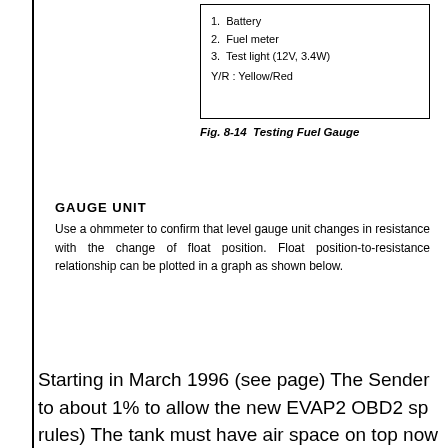[Figure (schematic): Diagram box listing components for Testing Fuel Gauge: 1. Battery, 2. Fuel meter, 3. Test light (12V, 3.4W), Y/R: Yellow/Red]
Fig. 8-14  Testing Fuel Gauge
GAUGE UNIT
Use a ohmmeter to confirm that level gauge unit changes in resistance with the change of float position. Float position-to-resistance relationship can be plotted in a graph as shown below.
Starting in March 1996 (see page) The Sender was changed to about 1% to allow the new EVAP2 OBD2 sp rules) The tank must have air space on top now sender don't cut the mustard. And all new part